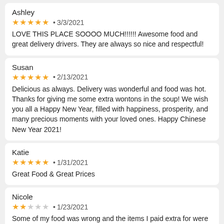Ashley
★★★★★ • 3/3/2021
LOVE THIS PLACE SOOOO MUCH!!!!!! Awesome food and great delivery drivers. They are always so nice and respectful!
Susan
★★★★★ • 2/13/2021
Delicious as always. Delivery was wonderful and food was hot. Thanks for giving me some extra wontons in the soup! We wish you all a Happy New Year, filled with happiness, prosperity, and many precious moments with your loved ones. Happy Chinese New Year 2021!
Katie
★★★★★ • 1/31/2021
Great Food & Great Prices
Nicole
★★☆☆☆ • 1/23/2021
Some of my food was wrong and the items I paid extra for were not in my order.
Mark
★★★☆☆ • 12/11/2020
Second time I have requested to not have egg in the vegetable fried rice and it had egg. Love your food but please pay more